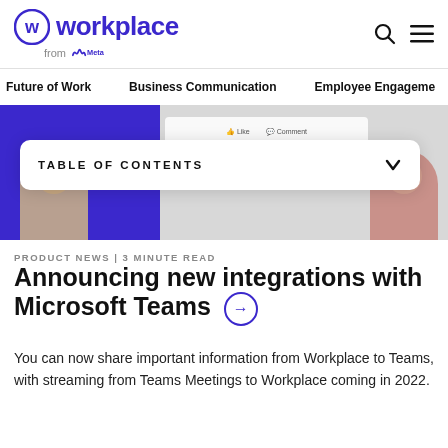workplace from Meta — search and menu icons
Future of Work | Business Communication | Employee Engagement
[Figure (screenshot): Screenshot of a Workplace interface showing two people partially visible on either side, a purple background, and UI elements including like and comment buttons. A 'TABLE OF CONTENTS' collapsible box overlays the image.]
PRODUCT NEWS | 3 MINUTE READ
Announcing new integrations with Microsoft Teams →
You can now share important information from Workplace to Teams, with streaming from Teams Meetings to Workplace coming in 2022.